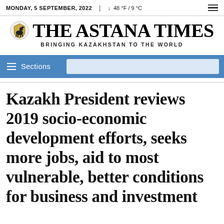MONDAY, 5 SEPTEMBER, 2022 | ↓ 48 °F / 9 °C
THE ASTANA TIMES
BRINGING KAZAKHSTAN TO THE WORLD
Sections
Kazakh President reviews 2019 socio-economic development efforts, seeks more jobs, aid to most vulnerable, better conditions for business and investment